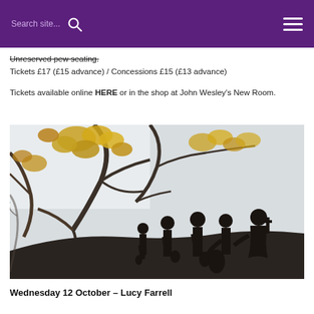Search site...
Unreserved pew seating.
Tickets £17 (£15 advance) / Concessions £15 (£13 advance)
Tickets available online HERE or in the shop at John Wesley's New Room.
[Figure (photo): Silhouettes of four musicians holding string instruments standing on a hill under autumn tree branches with yellow/orange leaves against a pale sky]
Wednesday 12 October – Lucy Farrell